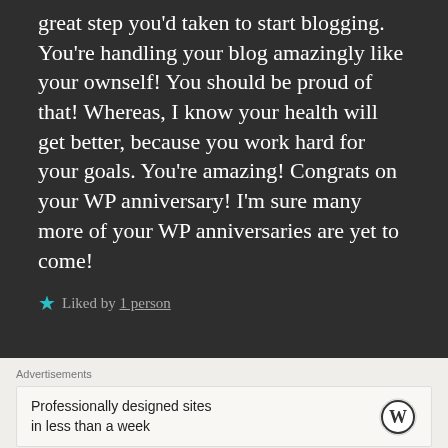great step you'd taken to start blogging. You're handling your blog amazingly like your ownself! You should be proud of that! Whereas, I know your health will get better, because you work hard for your goals. You're amazing! Congrats on your WP anniversary! I'm sure many more of your WP anniversaries are yet to come!
★ Liked by 1 person
Advertisements
Professionally designed sites in less than a week